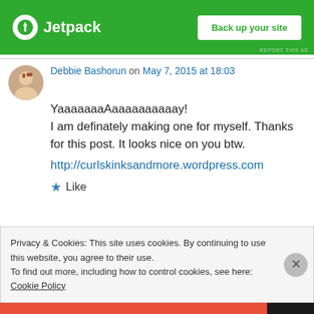[Figure (screenshot): Jetpack advertisement banner with green background, Jetpack logo on left and 'Back up your site' button on right]
Debbie Bashorun on May 7, 2015 at 18:03
YaaaaaaaAaaaaaaaaaay!
I am definately making one for myself. Thanks for this post. It looks nice on you btw.
http://curlskinksandmore.wordpress.com
★ Like
Privacy & Cookies: This site uses cookies. By continuing to use this website, you agree to their use.
To find out more, including how to control cookies, see here: Cookie Policy
Close and accept